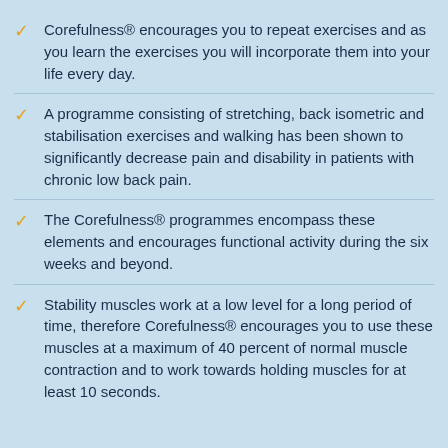Corefulness® encourages you to repeat exercises and as you learn the exercises you will incorporate them into your life every day.
A programme consisting of stretching, back isometric and stabilisation exercises and walking has been shown to significantly decrease pain and disability in patients with chronic low back pain.
The Corefulness® programmes encompass these elements and encourages functional activity during the six weeks and beyond.
Stability muscles work at a low level for a long period of time, therefore Corefulness® encourages you to use these muscles at a maximum of 40 percent of normal muscle contraction and to work towards holding muscles for at least 10 seconds.